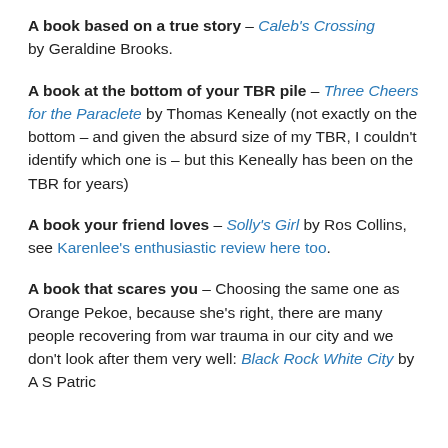A book based on a true story – Caleb's Crossing by Geraldine Brooks.
A book at the bottom of your TBR pile – Three Cheers for the Paraclete by Thomas Keneally (not exactly on the bottom – and given the absurd size of my TBR, I couldn't identify which one is – but this Keneally has been on the TBR for years)
A book your friend loves – Solly's Girl by Ros Collins, see Karenlee's enthusiastic review here too.
A book that scares you – Choosing the same one as Orange Pekoe, because she's right, there are many people recovering from war trauma in our city and we don't look after them very well: Black Rock White City by A S Patric